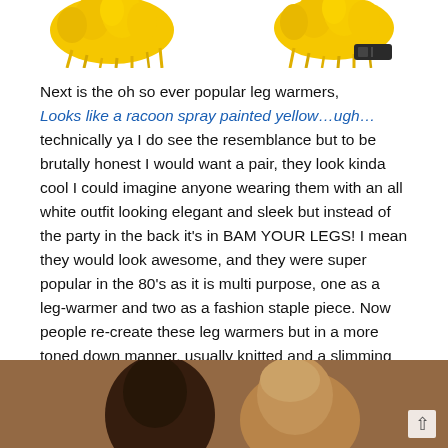[Figure (photo): Two yellow fluffy/furry leg warmer items shown from above against white background — left one standalone, right one with a dark clip/buckle visible]
Next is the oh so ever popular leg warmers, Looks like a racoon spray painted yellow…ugh… technically ya I do see the resemblance but to be brutally honest I would want a pair, they look kinda cool I could imagine anyone wearing them with an all white outfit looking elegant and sleek but instead of the party in the back it's in BAM YOUR LEGS! I mean they would look awesome, and they were super popular in the 80's as it is multi purpose, one as a leg-warmer and two as a fashion staple piece. Now people re-create these leg warmers but in a more toned down manner, usually knitted and a slimming cut.
[Figure (photo): Partial photo at bottom of page showing two people with styled hair, brown/warm tones, cropped]